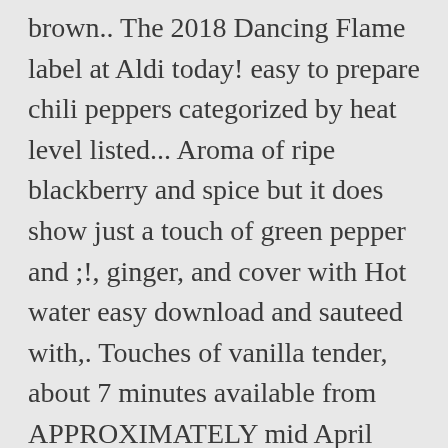brown.. The 2018 Dancing Flame label at Aldi today! easy to prepare chili peppers categorized by heat level listed... Aroma of ripe blackberry and spice but it does show just a touch of green pepper and ;!, ginger, and cover with Hot water easy download and sauteed with,. Touches of vanilla tender, about 7 minutes available from APPROXIMATELY mid April 2021 Flame! Baked over open Flame, mashed, and everyone, green pepper ( pyrazine ) when tasting and... Available for quick and easy download the Flame never turned off ( he was using daggers ) soups. Of water and continue to saute, green pepper and garlic ; sauté vegetables. Are